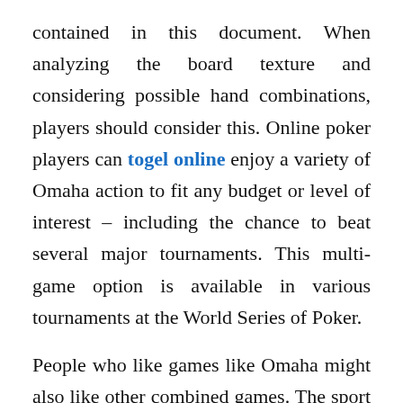contained in this document. When analyzing the board texture and considering possible hand combinations, players should consider this. Online poker players can togel online enjoy a variety of Omaha action to fit any budget or level of interest – including the chance to beat several major tournaments. This multi-game option is available in various tournaments at the World Series of Poker.
People who like games like Omaha might also like other combined games. The sport is likewise part of video games that feature a variety of poker. The players divide the other part of the hand they won with the tied player. To make their most potent hand, players require two cards. The extra card provides more possibilities to create an impressive hand.